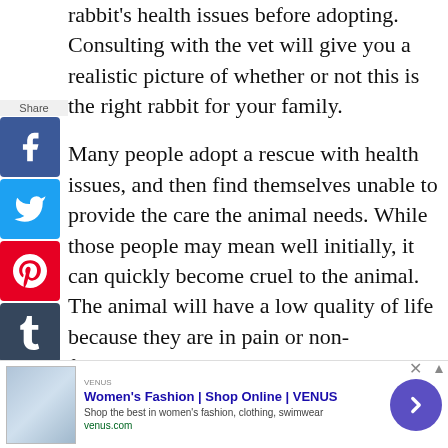rabbit's health issues before adopting. Consulting with the vet will give you a realistic picture of whether or not this is the right rabbit for your family.
Many people adopt a rescue with health issues, and then find themselves unable to provide the care the animal needs. While those people may mean well initially, it can quickly become cruel to the animal. The animal will have a low quality of life because they are in pain or non-functional, until the owner either sends the pet back to the shelter (where the process is repeated) or it
[Figure (other): Social media share sidebar with Facebook, Twitter, Pinterest, Tumblr, Reddit, WhatsApp, and Messenger icons]
[Figure (other): Advertisement banner for Women's Fashion at VENUS (venus.com) with fashion image thumbnail and a purple call-to-action button]